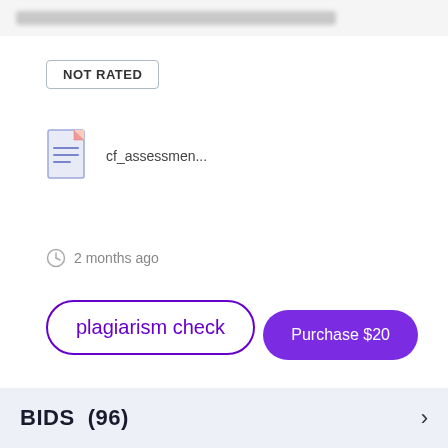[blurred header text]
NOT RATED
[Figure (other): Document file icon with lines representing text, with orange dog-ear fold at top right corner]
cf_assessmen...
2 months ago
plagiarism check
Purchase $20
BIDS  (96)